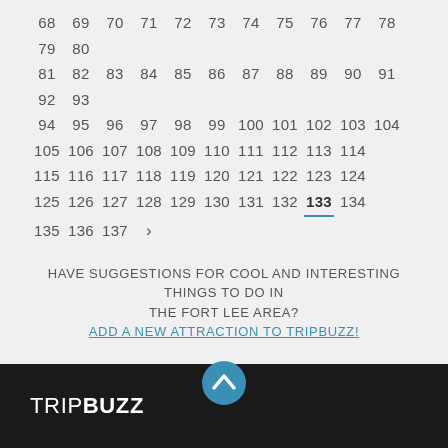68 69 70 71 72 73 74 75 76 77 78 79 80 81 82 83 84 85 86 87 88 89 90 91 92 93 94 95 96 97 98 99 100 101 102 103 104 105 106 107 108 109 110 111 112 113 114 115 116 117 118 119 120 121 122 123 124 125 126 127 128 129 130 131 132 133 134 135 136 137 >
HAVE SUGGESTIONS FOR COOL AND INTERESTING THINGS TO DO IN THE FORT LEE AREA?
ADD A NEW ATTRACTION TO TRIPBUZZ!
[Figure (other): Scroll-to-top button: blue circle with white upward chevron]
TRIPBUZZ